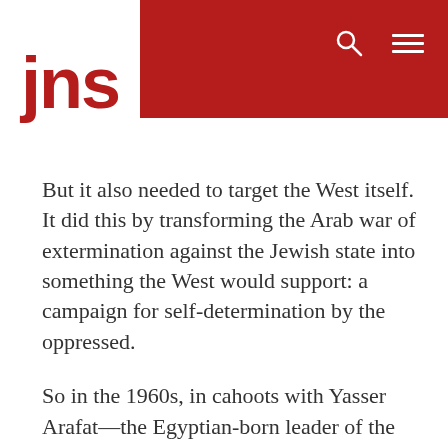jns
But it also needed to target the West itself. It did this by transforming the Arab war of extermination against the Jewish state into something the West would support: a campaign for self-determination by the oppressed.
So in the 1960s, in cahoots with Yasser Arafat—the Egyptian-born leader of the terrorist Palestinian Liberation Organization—it created a fictitious Palestinian Arab identity. As Arafat said: “The Palestinian people have no national identity. I, Yasser Arafat, man of destiny, will